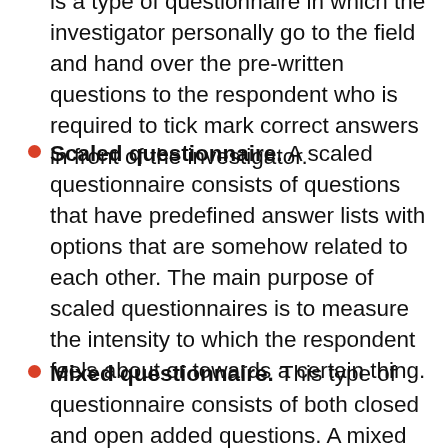is a type of questionnaire in which the investigator personally go to the field and hand over the pre-written questions to the respondent who is required to tick mark correct answers in front of the investigator.
Scaled questionnaire. A scaled questionnaire consists of questions that have predefined answer lists with options that are somehow related to each other. The main purpose of scaled questionnaires is to measure the intensity to which the respondent feels about or towards a certain thing.
Mixed questionnaire. This type of questionnaire consists of both closed and open added questions. A mixed questionnaire is mainly used in social